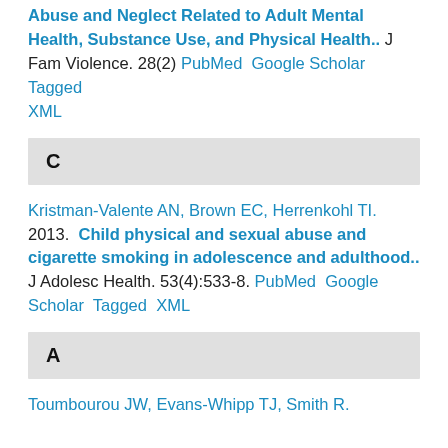Abuse and Neglect Related to Adult Mental Health, Substance Use, and Physical Health.. J Fam Violence. 28(2) PubMed Google Scholar Tagged XML
C
Kristman-Valente AN, Brown EC, Herrenkohl TI. 2013. Child physical and sexual abuse and cigarette smoking in adolescence and adulthood.. J Adolesc Health. 53(4):533-8. PubMed Google Scholar Tagged XML
A
Toumbourou JW, Evans-Whipp TJ, Smith R.